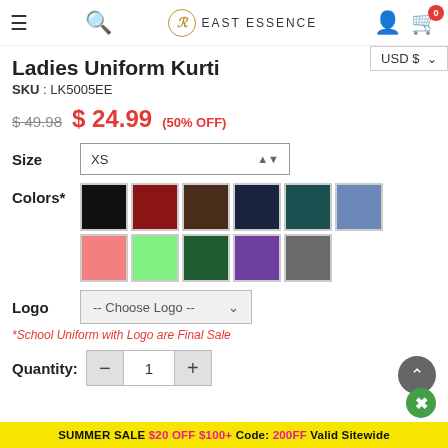East Essence — Navigation header with hamburger, search, logo, user, cart (0)
Ladies Uniform Kurti
SKU : LK5005EE
$49.98  $24.99 (50% OFF)
Size  XS
Colors*  [11 color swatches: black, dark red, brown, navy, teal, blue-grey, pink, light green, dark green, purple, grey]
Logo  -- Choose Logo --
*School Uniform with Logo are Final Sale
Quantity:  - 1 +
SUMMER SALE $20 OFF $100+ Code: 200FF Valid Sitewide